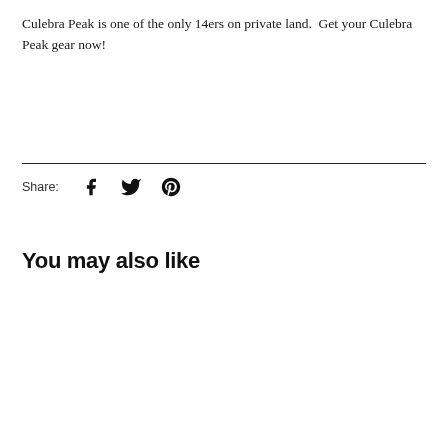Culebra Peak is one of the only 14ers on private land.  Get your Culebra Peak gear now!
Share:
You may also like